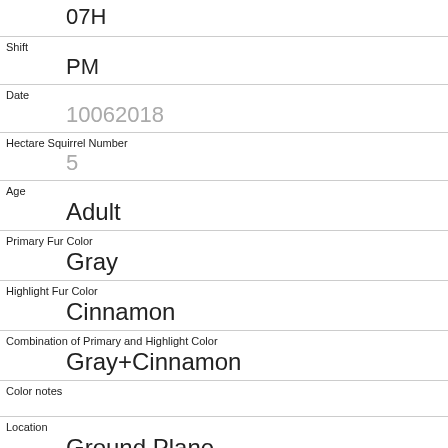07H
Shift
PM
Date
10062018
Hectare Squirrel Number
5
Age
Adult
Primary Fur Color
Gray
Highlight Fur Color
Cinnamon
Combination of Primary and Highlight Color
Gray+Cinnamon
Color notes
Location
Ground Plane
Above Ground Sighter Measurement